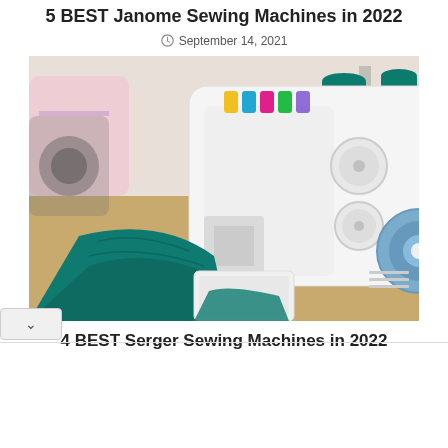5 BEST Janome Sewing Machines in 2022
September 14, 2021
[Figure (photo): Close-up photo of a white Janome serger/overlocker sewing machine with colorful thread spools (yellow, blue, pink, green) on top, teal/green fabric being sewn, and thread cones on a stand in the background.]
4 BEST Serger Sewing Machines in 2022